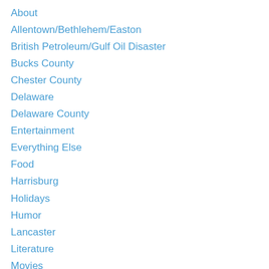About
Allentown/Bethlehem/Easton
British Petroleum/Gulf Oil Disaster
Bucks County
Chester County
Delaware
Delaware County
Entertainment
Everything Else
Food
Harrisburg
Holidays
Humor
Lancaster
Literature
Movies
Music
New Jersey
Norristown/Montgomery County
Pennsylvania